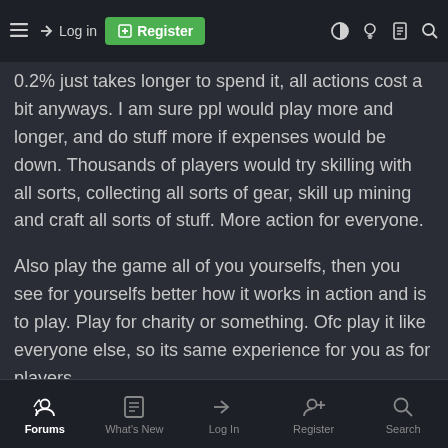10000 players shooting and s... le is same as 1000 shooting and losing 10%. No ... 1% it can be just like
0.2% just takes longer to spend it, all actions cost a bit anyways. I am sure ppl would play more and longer, and do stuff more if expenses would be down. Thousands of players would try skilling with all sorts, collecting all sorts of gear, skill up mining and craft all sorts of stuff. More action for everyone.
Also play the game all of you yourselfs, then you see for yourselfs better how it works in action and is to play. Play for charity or something. Ofc play it like everyone else, so its same experience for you as for players.
Gambling is addictive and makes you sick, would be good to put some deposit caps ingame and show returns for all activities ingame and loot composition. Like game could ask whats your avg income
Forums  What's New  Log In  Register  Search